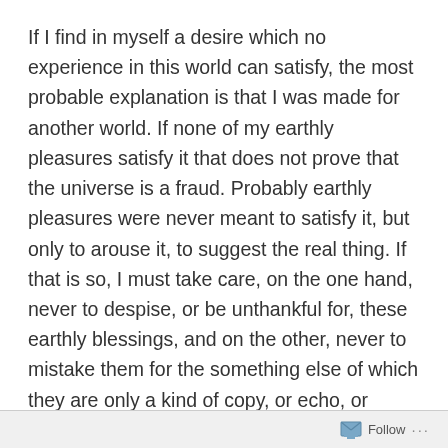If I find in myself a desire which no experience in this world can satisfy, the most probable explanation is that I was made for another world. If none of my earthly pleasures satisfy it that does not prove that the universe is a fraud. Probably earthly pleasures were never meant to satisfy it, but only to arouse it, to suggest the real thing. If that is so, I must take care, on the one hand, never to despise, or be unthankful for, these earthly blessings, and on the other, never to mistake them for the something else of which they are only a kind of copy, or echo, or mirage. I must keep alive in myself the desire for my true country, which I shall not find till after death; I must never let it get snowed under or turned aside; I must make it the main object of life to press on to that other country and to help others to do the same.  ( C. S. Lewis, from Mere
Follow ···